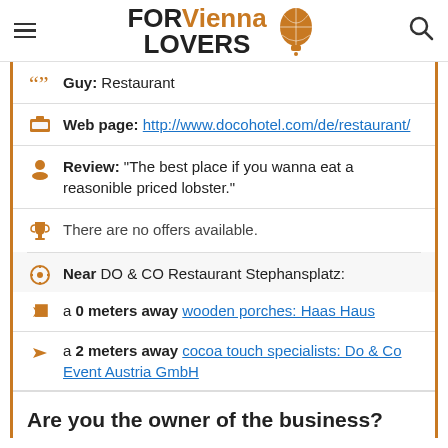[Figure (logo): FOR Vienna LOVERS logo with hot air balloon icon]
Guy: Restaurant
Web page: http://www.docohotel.com/de/restaurant/
Review: "The best place if you wanna eat a reasonible priced lobster."
There are no offers available.
Near DO & CO Restaurant Stephansplatz:
a 0 meters away wooden porches: Haas Haus
a 2 meters away cocoa touch specialists: Do & Co Event Austria GmbH
Are you the owner of the business? PROMOTE IT!